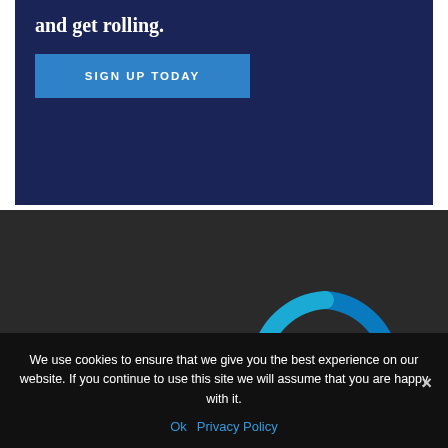and get rolling.
SIGN UP TODAY
[Figure (logo): YNOT Mail logo with circular arrows and envelope with @ symbol on dark background]
We use cookies to ensure that we give you the best experience on our website. If you continue to use this site we will assume that you are happy with it.
Ok  Privacy Policy